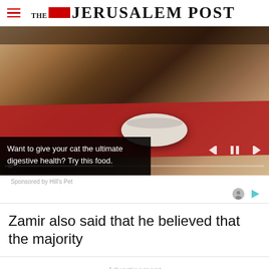THE JERUSALEM POST
[Figure (photo): A cat eating from a white bowl placed on a red placemat on a wooden table, with video player controls (skip back, pause, skip forward) and a progress bar overlaid. An advertisement overlay reads: 'Want to give your cat the ultimate digestive health? Try this food.' Sponsored by Hill's Pet.]
Sponsored by Hill's Pet
Zamir also said that he believed that the majority
Advertisement